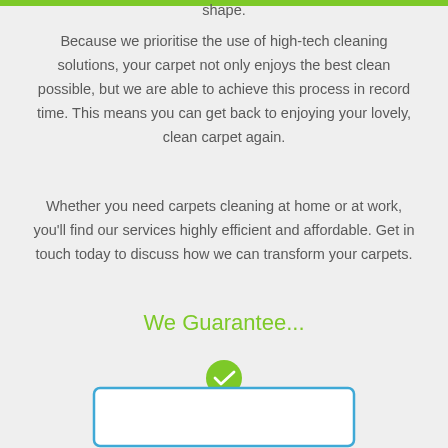shape.
Because we prioritise the use of high-tech cleaning solutions, your carpet not only enjoys the best clean possible, but we are able to achieve this process in record time. This means you can get back to enjoying your lovely, clean carpet again.
Whether you need carpets cleaning at home or at work, you'll find our services highly efficient and affordable. Get in touch today to discuss how we can transform your carpets.
We Guarantee...
[Figure (other): A card with a green checkmark circle badge at the top center and a blue border, partially visible at the bottom of the page.]